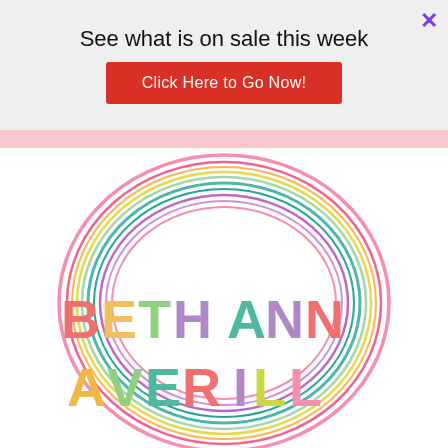See what is on sale this week
Click Here to Go Now!
[Figure (logo): Beth Ann Averill logo with colorful concentric circles and bold multicolored text reading BETH ANN AVERILL]